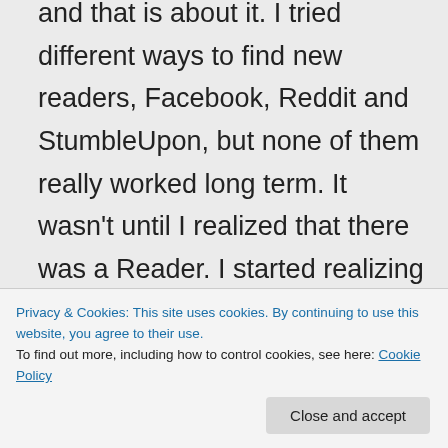and that is about it. I tried different ways to find new readers, Facebook, Reddit and StumbleUpon, but none of them really worked long term. It wasn't until I realized that there was a Reader. I started realizing there were other bloggers on WordPress. I started following them, reading posts of theirs and commenting and liking them. Once I started doing that, they would read mine and realized that my blog was funny, worthwhile and consistent. I wrote at least
Privacy & Cookies: This site uses cookies. By continuing to use this website, you agree to their use.
To find out more, including how to control cookies, see here: Cookie Policy
followers, they saw that others liked it and